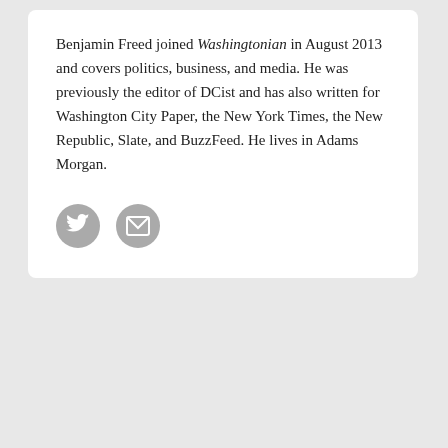Benjamin Freed joined Washingtonian in August 2013 and covers politics, business, and media. He was previously the editor of DCist and has also written for Washington City Paper, the New York Times, the New Republic, Slate, and BuzzFeed. He lives in Adams Morgan.
[Figure (other): Two social media icons: a Twitter bird icon and an envelope/email icon, both in gray circles.]